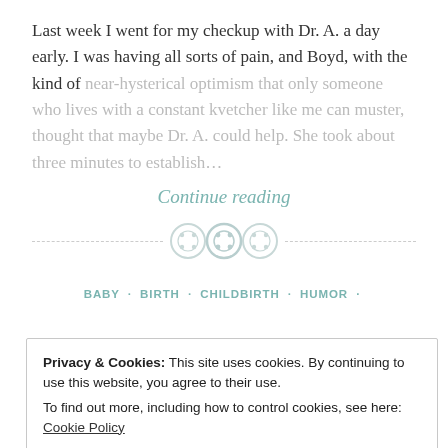Last week I went for my checkup with Dr. A. a day early. I was having all sorts of pain, and Boyd, with the kind of near-hysterical optimism that only someone who lives with a constant kvetcher like me can muster, thought that maybe Dr. A. could help. She took about three minutes to establish…
Continue reading
[Figure (illustration): Three decorative button icons in a row, used as a section divider, with dashed lines on either side]
BABY · BIRTH · CHILDBIRTH · HUMOR ·
Privacy & Cookies: This site uses cookies. By continuing to use this website, you agree to their use. To find out more, including how to control cookies, see here: Cookie Policy
Close and accept